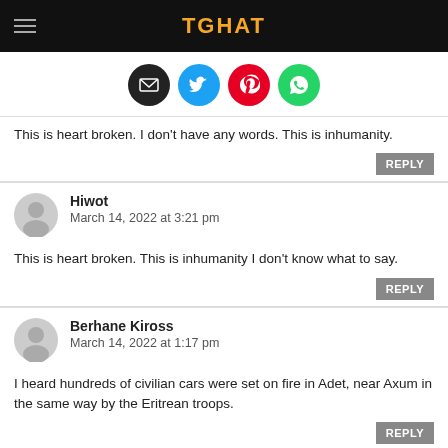TGHAT
[Figure (infographic): Social share icons: email (black), Twitter (blue), Pinterest (red), WhatsApp (green)]
This is heart broken. I don't have any words. This is inhumanity.
Hiwot
March 14, 2022 at 3:21 pm
This is heart broken. This is inhumanity I don't know what to say.
Berhane Kiross
March 14, 2022 at 1:17 pm
I heard hundreds of civilian cars were set on fire in Adet, near Axum in the same way by the Eritrean troops.